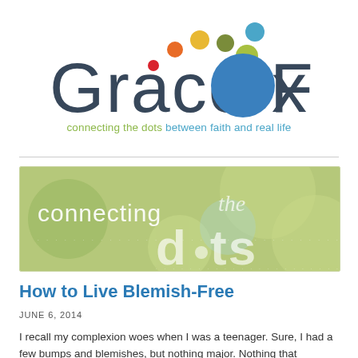[Figure (logo): Grace Fox logo with colorful dots and tagline 'connecting the dots between faith and real life']
[Figure (illustration): Green banner image with text 'connecting the dots' in white decorative lettering with circular dot motifs]
How to Live Blemish-Free
JUNE 6, 2014
I recall my complexion woes when I was a teenager. Sure, I had a few bumps and blemishes, but nothing major. Nothing that